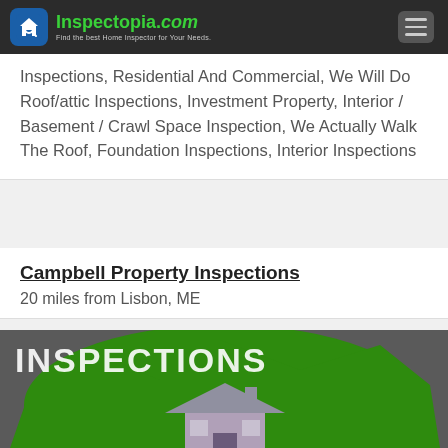Inspectopia.com - Find the best Home Inspector for Your Needs.
Inspections, Residential And Commercial, We Will Do Roof/attic Inspections, Investment Property, Interior / Basement / Crawl Space Inspection, We Actually Walk The Roof, Foundation Inspections, Interior Inspections
Campbell Property Inspections
20 miles from Lisbon, ME
[Figure (logo): Campbell Property Inspections logo - green background with house silhouette and the word INSPECTIONS]